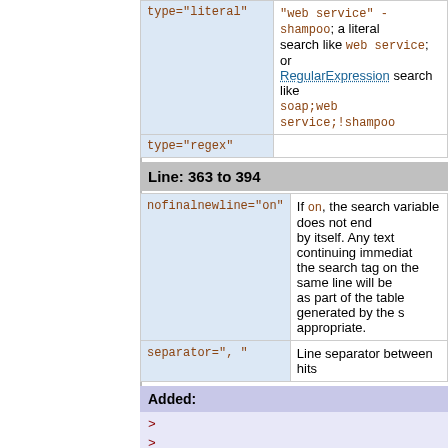| Attribute | Description |
| --- | --- |
| type="literal" | "web service" -shampoo; a literal search like web service; or RegularExpression search like soap;web service;!shampoo |
| type="regex" |  |
Line: 363 to 394
| Attribute | Description |
| --- | --- |
| nofinalnewline="on" | If on, the search variable does not end by itself. Any text continuing immediately after the search tag on the same line will be as part of the table generated by the s appropriate. |
| separator=", " | Line separator between hits |
Added:
> >
statistics
Refresh the WebStatistics topics in range of webs.
Line: 381 to 412